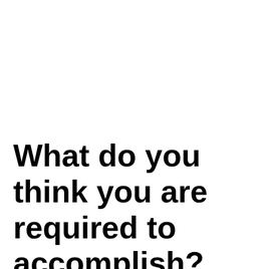What do you think you are required to accomplish?